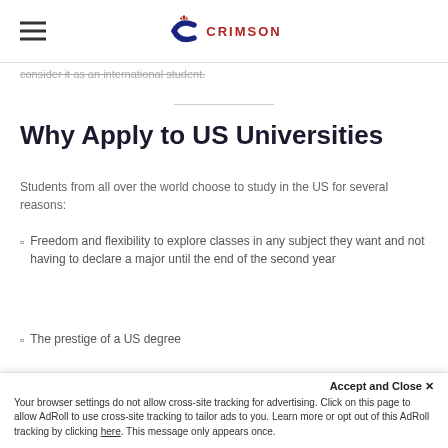CRIMSON
consider it as an international student.
Why Apply to US Universities
Students from all over the world choose to study in the US for several reasons:
Freedom and flexibility to explore classes in any subject they want and not having to declare a major until the end of the second year
The prestige of a US degree
Accept and Close ✕ Your browser settings do not allow cross-site tracking for advertising. Click on this page to allow AdRoll to use cross-site tracking to tailor ads to you. Learn more or opt out of this AdRoll tracking by clicking here. This message only appears once.